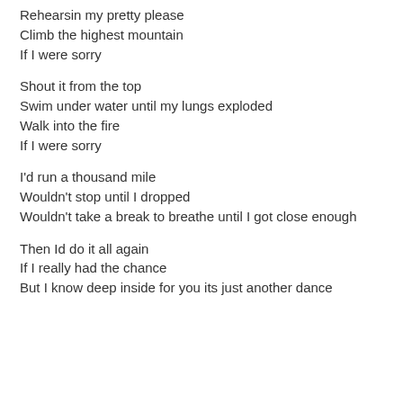Rehearsin my pretty please
Climb the highest mountain
If I were sorry
Shout it from the top
Swim under water until my lungs exploded
Walk into the fire
If I were sorry
I'd run a thousand mile
Wouldn't stop until I dropped
Wouldn't take a break to breathe until I got close enough
Then Id do it all again
If I really had the chance
But I know deep inside for you its just another dance